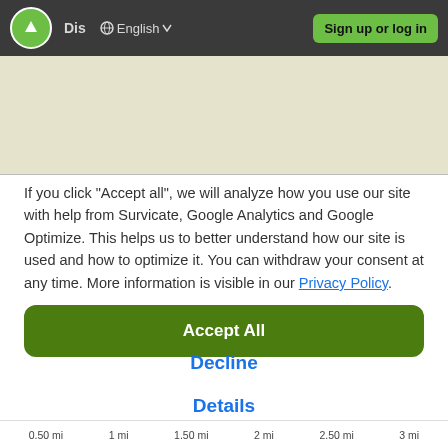Dis  English  Sign up or log in
[Figure (screenshot): Map area showing a beige/light olive colored map background]
If you click "Accept all", we will analyze how you use our site with help from Survicate, Google Analytics and Google Optimize. This helps us to better understand how our site is used and how to optimize it. You can withdraw your consent at any time. More information is visible in our Privacy Policy.
Accept All
Decline
Details
0.50 mi   1 mi   1.50 mi   2 mi   2.50 mi   3 mi